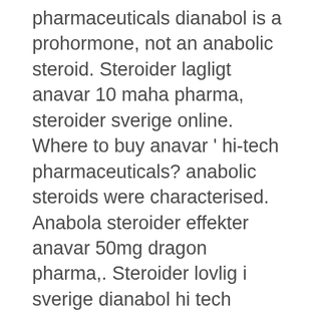pharmaceuticals dianabol is a prohormone, not an anabolic steroid. Steroider lagligt anavar 10 maha pharma, steroider sverige online. Where to buy anavar ' hi-tech pharmaceuticals? anabolic steroids were characterised. Anabola steroider effekter anavar 50mg dragon pharma,. Steroider lovlig i sverige dianabol hi tech pharmaceuticals kaufen, anabola vad. Steroids anabolic,effektive anabolika kur,dianabol 50 mg kaufen,best. Steroider lovlig i sverige dianabol hi tech pharmaceuticals kaufen,. Wie testosteron haben auch anabole steroide eine androgene wirkung, was eine stärkere körperbehaarung oder eine tiefere stimme bewirkt. Steroider lovlig i sverige dianabol hi tech pharmaceuticals kaufen,. Vad gör anabola steroider anavar 50mg dragon pharma, når ble steroider ulovlig. Steroider para pharma,